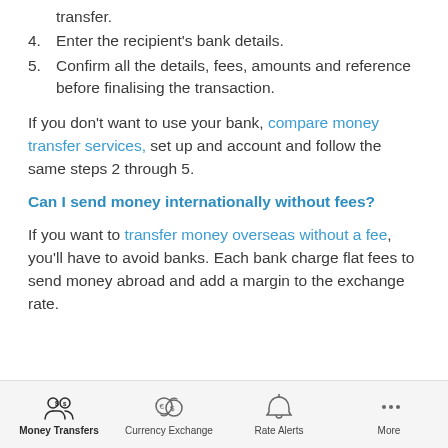transfer.
4. Enter the recipient's bank details.
5. Confirm all the details, fees, amounts and reference before finalising the transaction.
If you don't want to use your bank, compare money transfer services, set up and account and follow the same steps 2 through 5.
Can I send money internationally without fees?
If you want to transfer money overseas without a fee, you'll have to avoid banks. Each bank charge flat fees to send money abroad and add a margin to the exchange rate.
Money Transfers | Currency Exchange | Rate Alerts | More